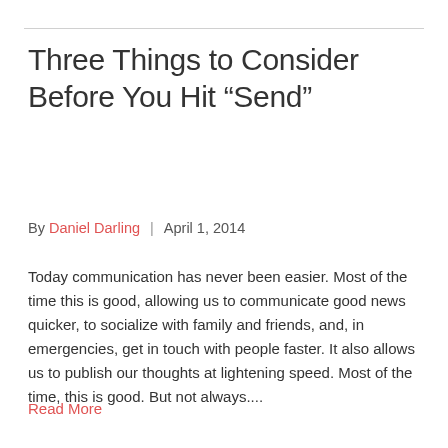Three Things to Consider Before You Hit “Send”
By Daniel Darling  |  April 1, 2014
Today communication has never been easier. Most of the time this is good, allowing us to communicate good news quicker, to socialize with family and friends, and, in emergencies, get in touch with people faster. It also allows us to publish our thoughts at lightening speed. Most of the time, this is good. But not always....
Read More